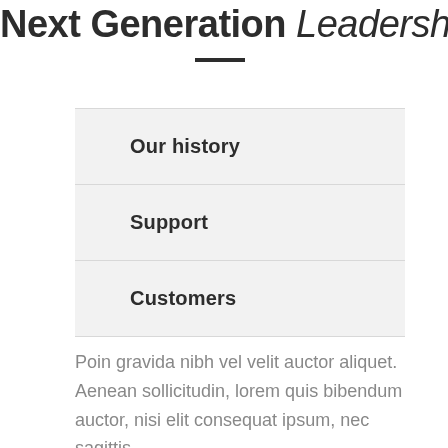Next Generation Leadership
Our history
Support
Customers
Poin gravida nibh vel velit auctor aliquet. Aenean sollicitudin, lorem quis bibendum auctor, nisi elit consequat ipsum, nec sagittis